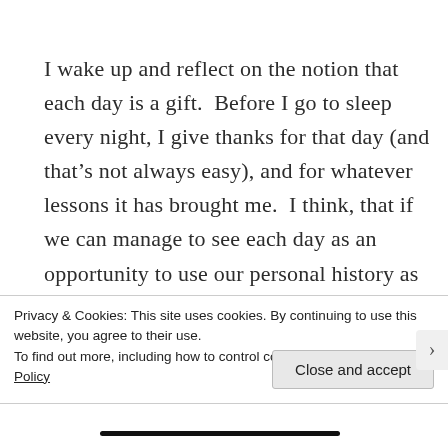I wake up and reflect on the notion that each day is a gift.  Before I go to sleep every night, I give thanks for that day (and that’s not always easy), and for whatever lessons it has brought me.  I think, that if we can manage to see each day as an opportunity to use our personal history as another life-lesson rather than dwelling on the mistakes we’ve made in the past, we will surely move steadily forward in the direction of our dreams and goals.
Privacy & Cookies: This site uses cookies. By continuing to use this website, you agree to their use.
To find out more, including how to control cookies, see here: Cookie Policy
Close and accept